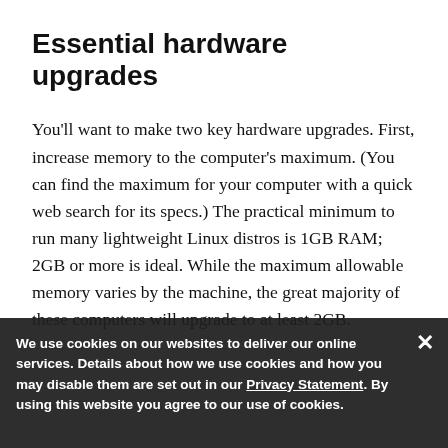Essential hardware upgrades
You'll want to make two key hardware upgrades. First, increase memory to the computer's maximum. (You can find the maximum for your computer with a quick web search for its specs.) The practical minimum to run many lightweight Linux distros is 1GB RAM; 2GB or more is ideal. While the maximum allowable memory varies by the machine, the great majority of these computers will upgrade to at least 2GB.
We use cookies on our websites to deliver our online services. Details about how we use cookies and how you may disable them are set out in our Privacy Statement. By using this website you agree to our use of cookies.